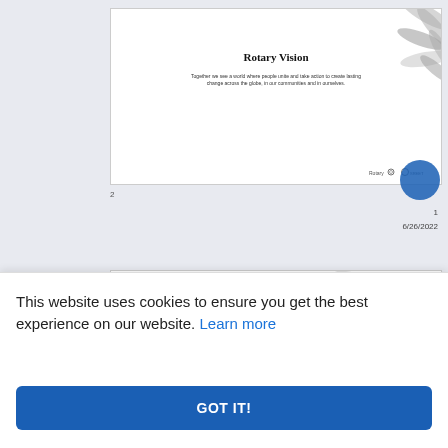[Figure (screenshot): Rotary Vision slide showing title 'Rotary Vision' with decorative leaf/flower background element, subtitle text about people uniting and taking action, and Rotary logos at the bottom]
2
1
6/26/2022
[Figure (screenshot): Imagine Rotary slide with gear/circle logo icon and 'IMAGINE ROTARY' text on decorative background]
This website uses cookies to ensure you get the best experience on our website. Learn more
GOT IT!